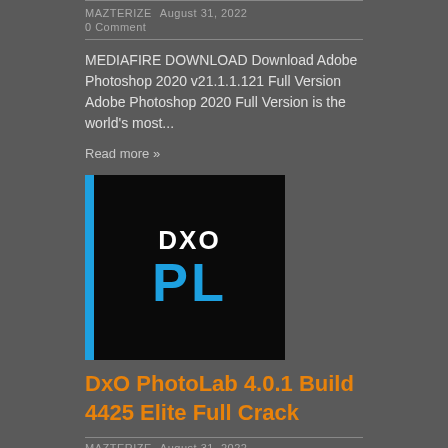MAZTERIZE  August 31, 2022
0 Comment
MEDIAFIRE DOWNLOAD Download Adobe Photoshop 2020 v21.1.1.121 Full Version Adobe Photoshop 2020 Full Version is the world's most...
Read more »
[Figure (logo): DxO PhotoLab logo: black rectangle with blue vertical bar on left, white DXO text and blue PL letters]
DxO PhotoLab 4.0.1 Build 4425 Elite Full Crack
MAZTERIZE  August 31, 2022
0 Comment
Download DxO PhotoLab 4.0.1 Build